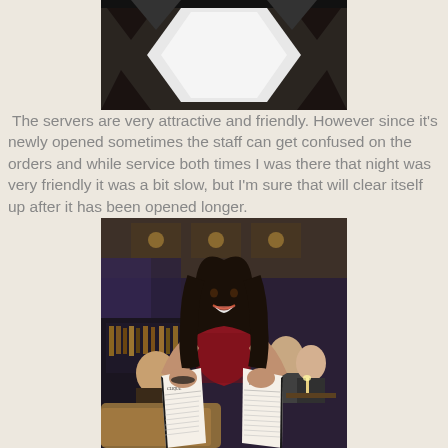[Figure (photo): Top portion of a restaurant interior photo showing ceiling with geometric light fixtures and dark decor]
The servers are very attractive and friendly. However since it's newly opened sometimes the staff can get confused on the orders and while service both times I was there that night was very friendly it was a bit slow, but I'm sure that will clear itself up after it has been opened longer.
[Figure (photo): A female server wearing a sparkly red/maroon halter top, holding two menus labeled 'CLIQUE', smiling in a restaurant setting with dim blue/purple lighting, bar in background]